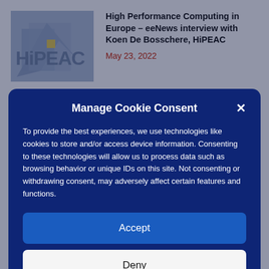High Performance Computing in Europe – eeNews interview with Koen De Bosschere, HiPEAC
May 23, 2022
Manage Cookie Consent
To provide the best experiences, we use technologies like cookies to store and/or access device information. Consenting to these technologies will allow us to process data such as browsing behavior or unique IDs on this site. Not consenting or withdrawing consent, may adversely affect certain features and functions.
Accept
Deny
View preferences
Privacy Statement